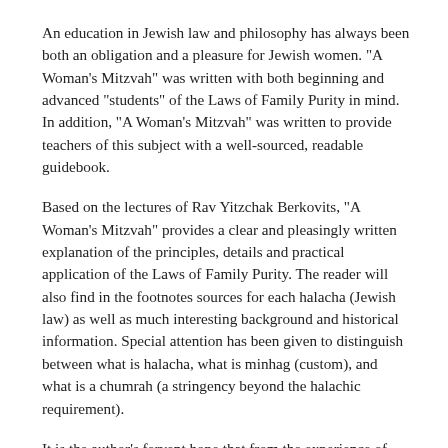An education in Jewish law and philosophy has always been both an obligation and a pleasure for Jewish women. "A Woman's Mitzvah" was written with both beginning and advanced "students" of the Laws of Family Purity in mind. In addition, "A Woman's Mitzvah" was written to provide teachers of this subject with a well-sourced, readable guidebook.
Based on the lectures of Rav Yitzchak Berkovits, "A Woman's Mitzvah" provides a clear and pleasingly written explanation of the principles, details and practical application of the Laws of Family Purity. The reader will also find in the footnotes sources for each halacha (Jewish law) as well as much interesting background and historical information. Special attention has been given to distinguish between what is halacha, what is minhag (custom), and what is a chumrah (a stringency beyond the halachic requirement).
It is the author's fervent hope that from the experience of keeping the Laws of Family Purity properly, Jewish women will experience first hand that which is written Torah, "All